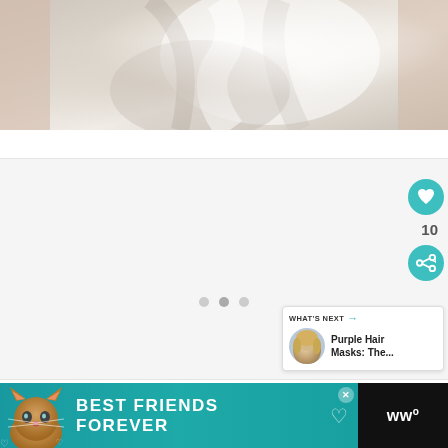[Figure (photo): Close-up photo of a person wearing a white silky/satin wrap top or blouse, showing the chest/torso area against a neutral background]
[Figure (screenshot): Image slideshow placeholder with three navigation dots at the bottom, a teal heart/like button with count of 10, and a teal share button on the right side. A 'What's Next' card shows a thumbnail of a blonde woman and text 'Purple Hair Masks: The...']
[Figure (photo): Advertisement banner with teal background showing a cartoon cat face, text 'BEST FRIENDS FOREVER' in large white bold letters with heart decorations, a close button, and a dark logo area on the right showing 'w°']